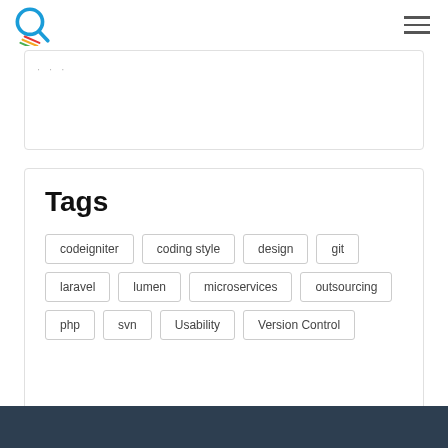Tags
codeigniter
coding style
design
git
laravel
lumen
microservices
outsourcing
php
svn
Usability
Version Control